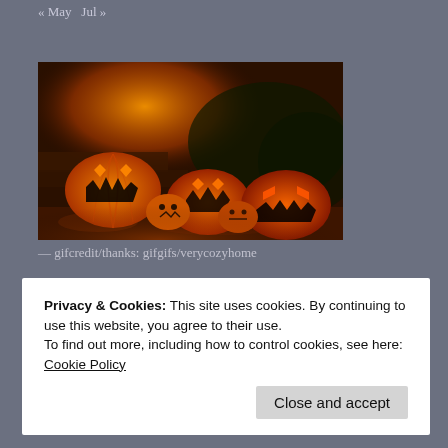« May   Jul »
[Figure (photo): Halloween jack-o-lanterns glowing orange at night on steps of a house, surrounded by autumn leaves and dim warm lighting]
— gifcredit/thanks: gifgifs/verycozyhome
Privacy & Cookies: This site uses cookies. By continuing to use this website, you agree to their use.
To find out more, including how to control cookies, see here:
Cookie Policy
Close and accept